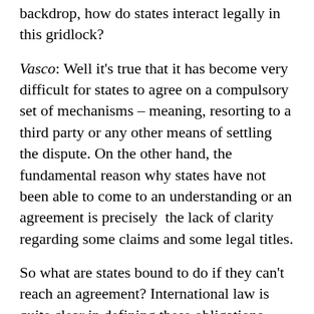backdrop, how do states interact legally in this gridlock?
Vasco: Well it's true that it has become very difficult for states to agree on a compulsory set of mechanisms – meaning, resorting to a third party or any other means of settling the dispute. On the other hand, the fundamental reason why states have not been able to come to an understanding or an agreement is precisely the lack of clarity regarding some claims and some legal titles.
So what are states bound to do if they can't reach an agreement? International law is quite clear in defining these obligations. The first principle is the preservation of the maritime environment. In the disputed area, claiming states can't act as if it's a no-man's land and have different conduct in that area. So they have a fundamental obligation to protect the marine